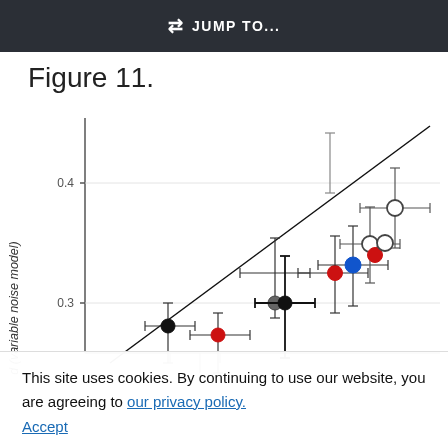JUMP TO...
Figure 11.
[Figure (continuous-plot): Scatter plot with error bars showing data points in various colors (black, gray, red, blue, white/open circles) with a diagonal regression line. Y-axis labeled 'd (variable noise model)' with visible range ~0.26–0.43. X-axis partially visible at bottom. Points cluster from lower-left to upper-right along the line.]
This site uses cookies. By continuing to use our website, you are agreeing to our privacy policy. Accept